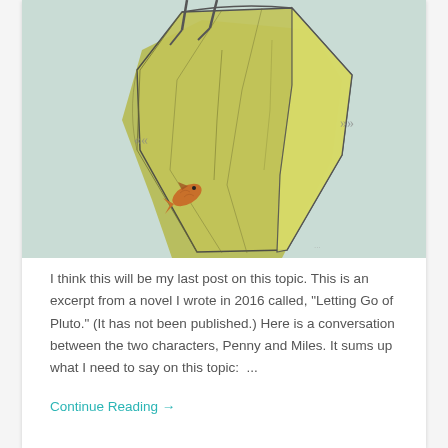[Figure (illustration): Watercolor illustration showing the bottom hull of a wooden rowboat viewed from below, in olive/khaki tones, against a pale mint-green background. A fish (orange/brown) hangs in the air below the boat. Quote marks (« ») are visible near the boat. The top portion shows what appears to be bird legs or a figure at the top of the frame.]
I think this will be my last post on this topic. This is an excerpt from a novel I wrote in 2016 called, "Letting Go of Pluto." (It has not been published.) Here is a conversation between the two characters, Penny and Miles. It sums up what I need to say on this topic:  ...
Continue Reading →